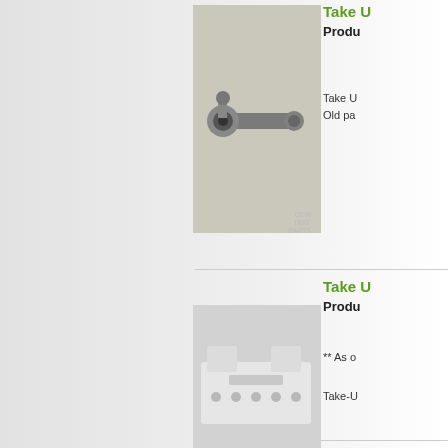[Figure (photo): Take-U part product photo - metal lever/arm component on beige background with CEW watermark]
Take U
Produ
Take U Old pa
[Figure (photo): Take-U part product photo - white plastic bracket/mounting plate component on grey background with CEW watermark]
Take U
Produ
** As o
Take-U
[Figure (photo): Take-U part product photo - white plastic track/rail component on grey background with CEW watermark]
Take U
Produ
11/2/2
14-1/8 Guide New p